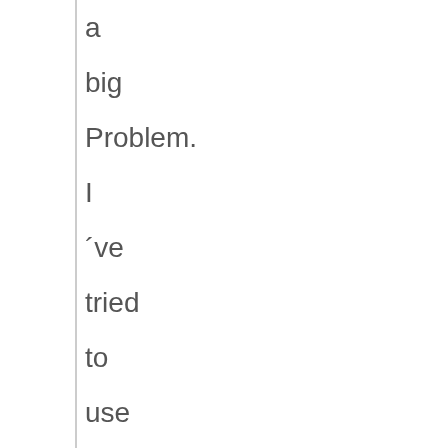a big Problem. I ´ve tried to use the NES30 controller and it doesn ´t work. My Questions: 1. where ´s